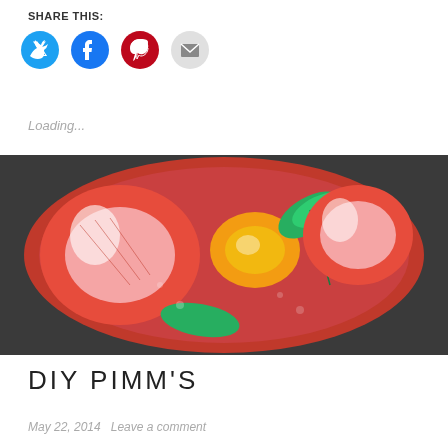SHARE THIS:
[Figure (infographic): Social share buttons: Twitter (blue circle), Facebook (blue circle), Pinterest (red circle), Email (gray circle)]
Loading...
[Figure (photo): Overhead view of a Pimm's cocktail in a red cup filled with strawberry slices, mint leaves, and an orange wedge]
DIY PIMM'S
May 22, 2014   Leave a comment